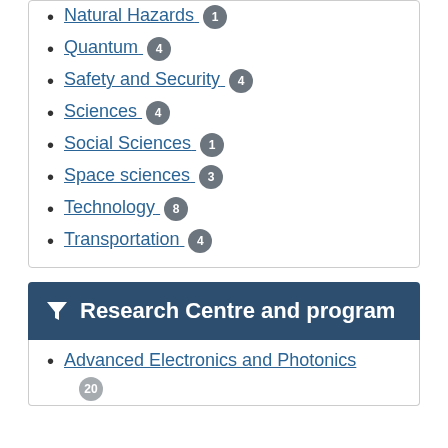Natural Hazards 1
Quantum 4
Safety and Security 4
Sciences 4
Social Sciences 1
Space sciences 3
Technology 8
Transportation 4
Research Centre and program
Advanced Electronics and Photonics